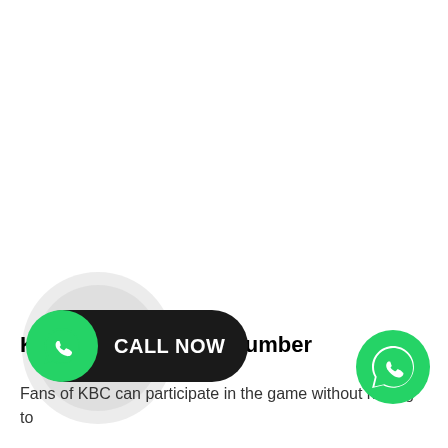[Figure (other): A green WhatsApp icon with a black pill-shaped 'CALL NOW' button, surrounded by two grey ripple circles indicating a call-to-action button.]
Kbc Lottery Winner Number
Fans of KBC can participate in the game without having to
[Figure (logo): Green WhatsApp floating action button circle in the bottom right corner.]